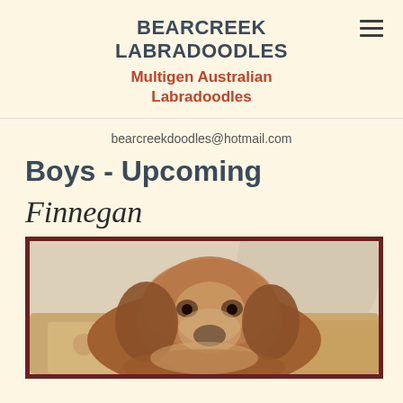BEARCREEK LABRADOODLES
Multigen Australian Labradoodles
bearcreekdoodles@hotmail.com
Boys - Upcoming
Finnegan
[Figure (photo): Photo of a brown/golden Labradoodle dog (Finnegan) resting on a floral couch, framed with a dark maroon border]